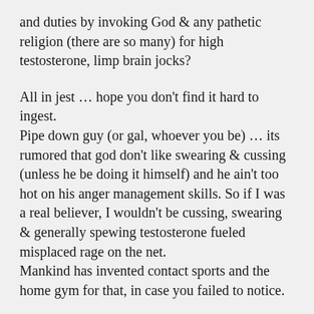and duties by invoking God & any pathetic religion (there are so many) for high testosterone, limp brain jocks?
All in jest … hope you don't find it hard to ingest.
Pipe down guy (or gal, whoever you be) … its rumored that god don't like swearing & cussing (unless he be doing it himself) and he ain't too hot on his anger management skills. So if I was a real believer, I wouldn't be cussing, swearing & generally spewing testosterone fueled misplaced rage on the net.
Mankind has invented contact sports and the home gym for that, in case you failed to notice.